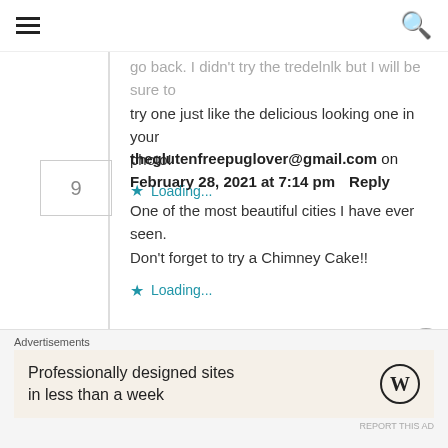≡  🔍
go back. I didn't try the tredelnk but I will be sure to try one just like the delicious looking one in your photo!
Loading...
theglutenfreepuglover@gmail.com on February 28, 2021 at 7:14 pm  Reply
One of the most beautiful cities I have ever seen. Don't forget to try a Chimney Cake!!
Loading...
Advertisements
Professionally designed sites in less than a week